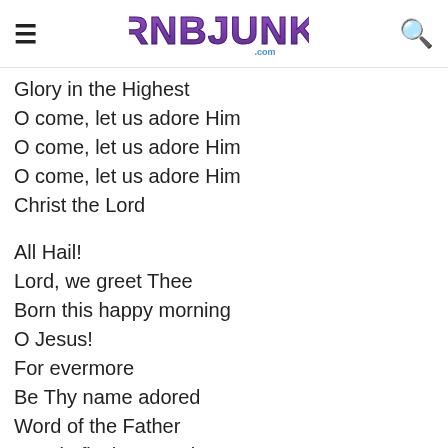≡ RNBJUNK.COM 🔍
Glory in the Highest
O come, let us adore Him
O come, let us adore Him
O come, let us adore Him
Christ the Lord

All Hail!
Lord, we greet Thee
Born this happy morning
O Jesus!
For evermore
Be Thy name adored
Word of the Father
Now in flesh appearing
O come, let us adore Him
O come, let us adore Him